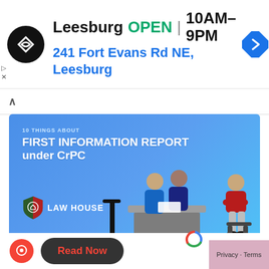Leesburg  OPEN  10AM–9PM  241 Fort Evans Rd NE, Leesburg
[Figure (infographic): Infographic titled '10 THINGS ABOUT FIRST INFORMATION REPORT under CrPC' with Law House logo and illustration of two police officers at a desk interviewing a civilian.]
Know How to File an FIR for the offence of Rape
Read Now